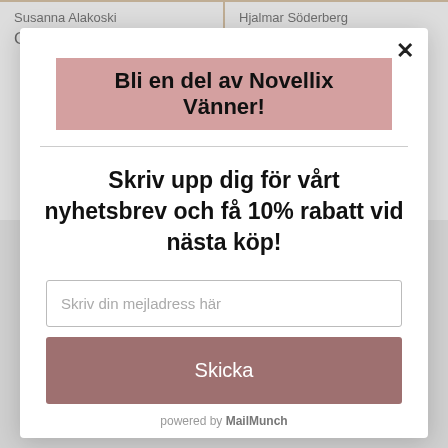Susanna Alakoski
Omsorgen
Köp nu 60 kr
Hjalmar Söderberg
Pälsen, Syndens lön & Kyssen
Köp nu 60 kr
Bli en del av Novellix Vänner!
Skriv upp dig för vårt nyhetsbrev och få 10% rabatt vid nästa köp!
Skriv din mejladress här
Skicka
powered by MailMunch